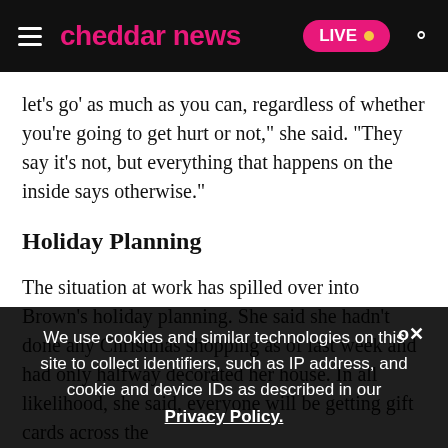cheddar news — LIVE
let's go' as much as you can, regardless of whether you're going to get hurt or not," she said. "They say it's not, but everything that happens on the inside says otherwise."
Holiday Planning
The situation at work has spilled over into Brown's holiday planning. She said she hadn't done any Christmas shopping as of last week and had only halfway decorated her house. In all likelihood, she said, everyone will be getting gift cards across the
We use cookies and similar technologies on this site to collect identifiers, such as IP address, and cookie and device IDs as described in our Privacy Policy.